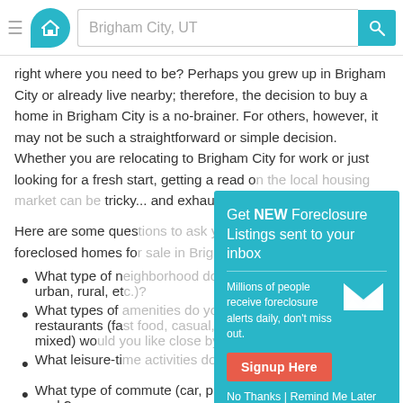Brigham City, UT [search bar with logo]
right where you need to be? Perhaps you grew up in Brigham City or already live nearby; therefore, the decision to buy a home in Brigham City is a no-brainer. For others, however, it may not be such a straightforward or simple decision. Whether you are relocating to Brigham City for work or just looking for a fresh start, getting a read on the local housing market can be tricky... and exhausting.
Here are some questions to ask yourself when considering foreclosed homes for sale in Brigham City, UT:
What type of neighborhood do you prefer (suburban, urban, rural, etc.)?
What types of amenities do you prefer (grocery, restaurants (fast food, casual, fine dining), small, big, mixed) would you like close by?
What leisure-time activities do you like to enjoy?
What type of commute (car, plane, home office) do you seek?
[Figure (screenshot): Modal popup with teal background: 'Get NEW Foreclosure Listings sent to your inbox' with a red Signup Here button, envelope icon, and links 'No Thanks | Remind Me Later']